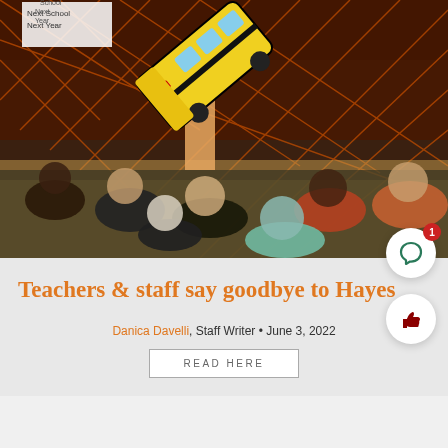[Figure (photo): Teachers and staff gathered in a school gymnasium for a farewell event. A person is holding up a large yellow school bus balloon/sign. People are seated at tables with food. The background shows an orange metal lattice wall decoration.]
Teachers & staff say goodbye to Hayes
Danica Davelli, Staff Writer • June 3, 2022
READ HERE